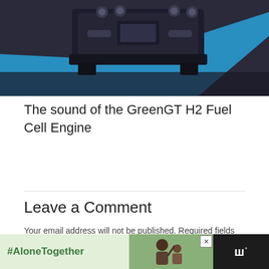[Figure (photo): Close-up photo of a dark mechanical engine component (GreenGT H2 Fuel Cell Engine) on a blue and dark background]
The sound of the GreenGT H2 Fuel Cell Engine
Your email address will not be published. Required fields are marked *
Leave a Comment
[Figure (screenshot): Advertisement banner: #AloneTogether with photo of man and child waving, and a logo on dark background]